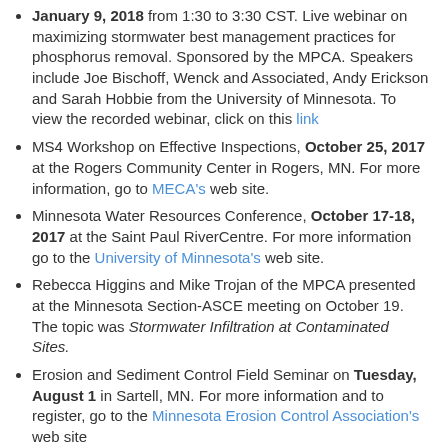January 9, 2018 from 1:30 to 3:30 CST. Live webinar on maximizing stormwater best management practices for phosphorus removal. Sponsored by the MPCA. Speakers include Joe Bischoff, Wenck and Associated, Andy Erickson and Sarah Hobbie from the University of Minnesota. To view the recorded webinar, click on this link
MS4 Workshop on Effective Inspections, October 25, 2017 at the Rogers Community Center in Rogers, MN. For more information, go to MECA's web site.
Minnesota Water Resources Conference, October 17-18, 2017 at the Saint Paul RiverCentre. For more information go to the University of Minnesota's web site.
Rebecca Higgins and Mike Trojan of the MPCA presented at the Minnesota Section-ASCE meeting on October 19. The topic was Stormwater Infiltration at Contaminated Sites.
Erosion and Sediment Control Field Seminar on Tuesday, August 1 in Sartell, MN. For more information and to register, go to the Minnesota Erosion Control Association's web site
MPCA webinar on Bioretention, Tuesday, May 30 from 1:30-3:00. Speakers include Fred Rozumalski, Barr Engineering and Marcey Bean, Mississippi Watershed Management Organization. To attend the webinar, click on this link